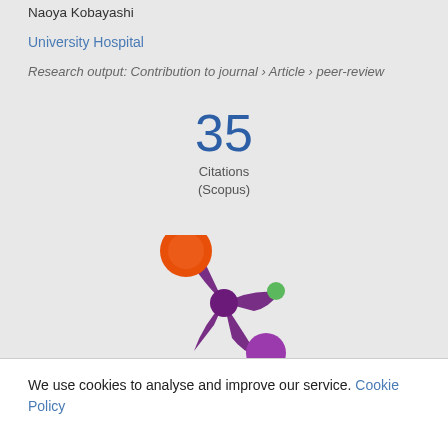Naoya Kobayashi
University Hospital
Research output: Contribution to journal › Article › peer-review
35
Citations
(Scopus)
[Figure (logo): Altmetric logo — colorful splat shape with orange, green, and purple circles]
We use cookies to analyse and improve our service. Cookie Policy